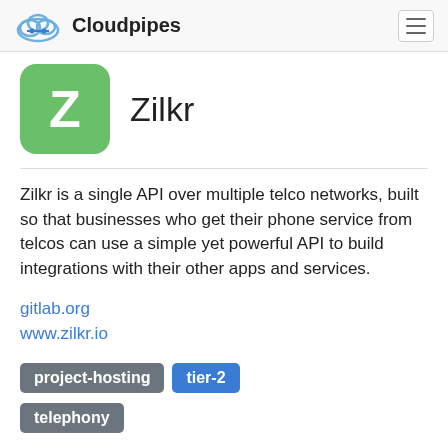Cloudpipes
[Figure (logo): Zilkr app icon — green rounded square with white letter Z]
Zilkr
Zilkr is a single API over multiple telco networks, built so that businesses who get their phone service from telcos can use a simple yet powerful API to build integrations with their other apps and services.
gitlab.org
www.zilkr.io
project-hosting  tier-2
telephony